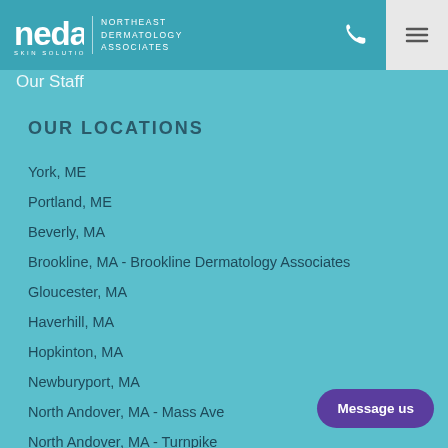NEDA Skin Solutions | Northeast Dermatology Associates
Our Staff
OUR LOCATIONS
York, ME
Portland, ME
Beverly, MA
Brookline, MA - Brookline Dermatology Associates
Gloucester, MA
Haverhill, MA
Hopkinton, MA
Newburyport, MA
North Andover, MA - Mass Ave
North Andover, MA - Turnpike
Norwell, MA - South Shore Skin Center
Marblehead, MA
Message us